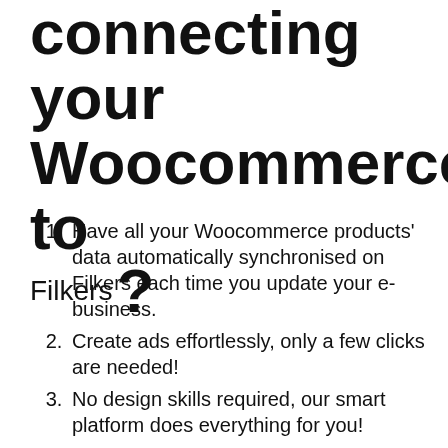connecting your Woocommerce to Filkers?
Have all your Woocommerce products' data automatically synchronised on Filkers each time you update your e-business.
Create ads effortlessly, only a few clicks are needed!
No design skills required, our smart platform does everything for you!
Working on a an Official Filker plugin awarded with multiple 5* reviews
Video Marketing campaigns
Boost social video and digital marketing strategies for eCommerce businesse